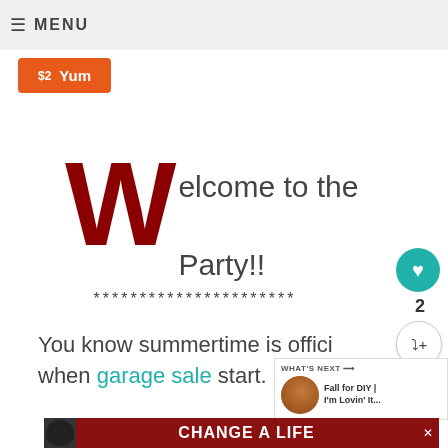≡ MENU
[Figure (screenshot): Orange button with price and 'Yum' label]
Welcome to the Party!!
**********************
You know summertime is officially here when garage sale start.
[Figure (infographic): WHAT'S NEXT panel with thumbnail and title: Fall for DIY | I'm Lovin' It...]
[Figure (infographic): Ad banner: CHANGE A LIFE with dog photo]